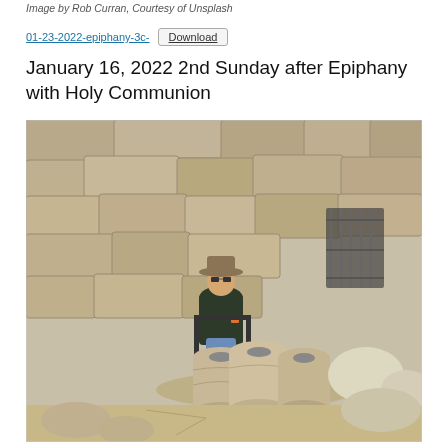Image by Rob Curran, Courtesy of Unsplash
01-23-2022-epiphany-3c-   Download
January 16, 2022 2nd Sunday after Epiphany with Holy Communion
[Figure (photo): A person in a hat and dark jacket sitting among large ancient stone jars/amphorae set against a background of large limestone block walls, at what appears to be an archaeological site.]